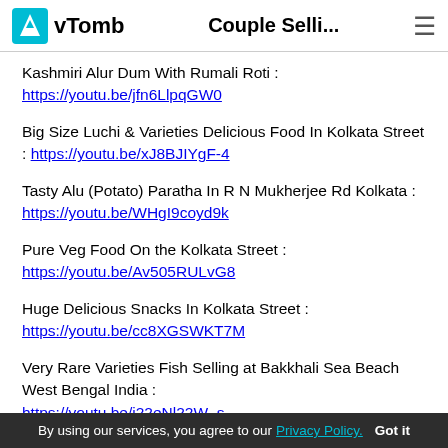vTomb   Couple Selli...
Kashmiri Alur Dum With Rumali Roti : https://youtu.be/jfn6LlpqGW0
Big Size Luchi & Varieties Delicious Food In Kolkata Street : https://youtu.be/xJ8BJIYgF-4
Tasty Alu (Potato) Paratha In R N Mukherjee Rd Kolkata : https://youtu.be/WHgI9coyd9k
Pure Veg Food On the Kolkata Street : https://youtu.be/Av505RULvG8
Huge Delicious Snacks In Kolkata Street : https://youtu.be/cc8XGSWKT7M
Very Rare Varieties Fish Selling at Bakkhali Sea Beach West Bengal India : https://youtu.be/i22eNl22W_s
Veg Fried ...
By using our services, you agree to our Privacy Policy.   Got it